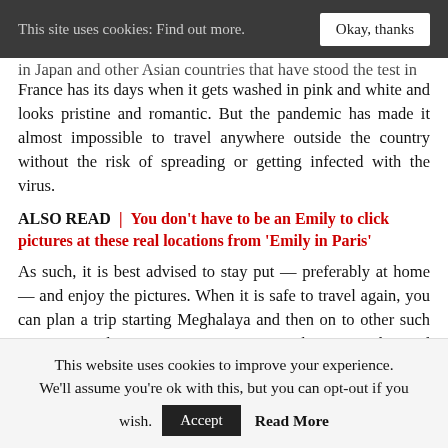This site uses cookies: Find out more. | Okay, thanks
in Japan and other Asian countries that have stood the test in France has its days when it gets washed in pink and white and looks pristine and romantic. But the pandemic has made it almost impossible to travel anywhere outside the country without the risk of spreading or getting infected with the virus.
ALSO READ | You don't have to be an Emily to click pictures at these real locations from 'Emily in Paris'
As such, it is best advised to stay put — preferably at home — and enjoy the pictures. When it is safe to travel again, you can plan a trip starting Meghalaya and then on to other such countries wherein you can enjoy the quietude and exquisiteness of nature.
This website uses cookies to improve your experience. We'll assume you're ok with this, but you can opt-out if you wish. Accept | Read More